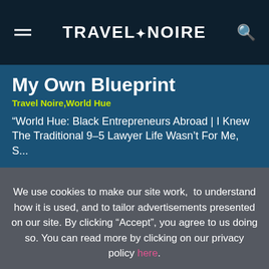TRAVEL+NOIRE
My Own Blueprint
Travel Noire,World Hue
“World Hue: Black Entrepreneurs Abroad | I Knew The Traditional 9–5 Lawyer Life Wasn’t For Me, S...
We use cookies to make our site work, to understand how it is used, and to tailor advertisements presented on our site. By clicking “Accept”, you agree to us doing so. You can read more by clicking on our privacy policy here.